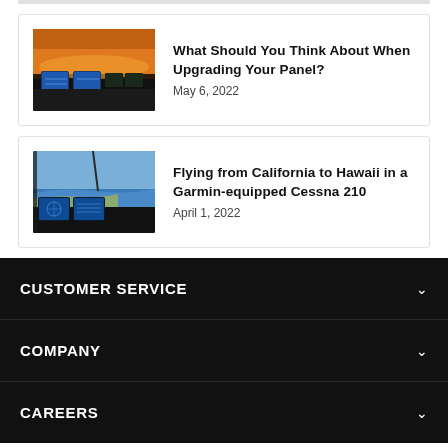[Figure (photo): Cockpit view showing avionics display screens at sunset/dusk with orange horizon]
What Should You Think About When Upgrading Your Panel?
May 6, 2022
[Figure (photo): Cockpit view with Garmin avionics, blue ocean and coastline visible through windscreen]
Flying from California to Hawaii in a Garmin-equipped Cessna 210
April 1, 2022
CUSTOMER SERVICE
COMPANY
CAREERS